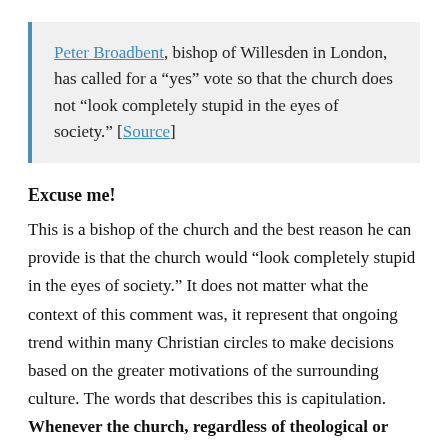Peter Broadbent, bishop of Willesden in London, has called for a "yes" vote so that the church does not "look completely stupid in the eyes of society." [Source]
Excuse me!
This is a bishop of the church and the best reason he can provide is that the church would "look completely stupid in the eyes of society." It does not matter what the context of this comment was, it represent that ongoing trend within many Christian circles to make decisions based on the greater motivations of the surrounding culture. The words that describes this is capitulation. Whenever the church, regardless of theological or denominational flavor, surrenders it moral prerogative it loses valuable ground to speak prophetically to the world for